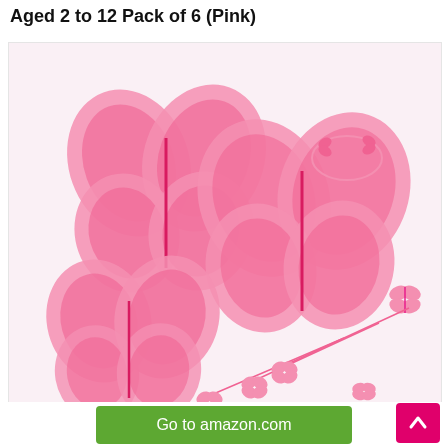Aged 2 to 12 Pack of 6 (Pink)
[Figure (photo): Product photo showing a pack of 6 pink butterfly fairy costume sets for girls, each set including pink butterfly wings, a butterfly headband, and a butterfly wand, all in pink color, displayed on a white/light pink background.]
Go to amazon.com